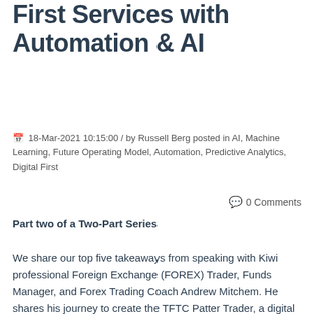Part Two: Creating Digital First Services with Automation & AI
18-Mar-2021 10:15:00 / by Russell Berg posted in AI, Machine Learning, Future Operating Model, Automation, Predictive Analytics, Digital First
0 Comments
Part two of a Two-Part Series
We share our top five takeaways from speaking with Kiwi professional Foreign Exchange (FOREX) Trader, Funds Manager, and Forex Trading Coach Andrew Mitchem. He shares his journey to create the TFTC Patter Trader, a digital first product underpinned by Machine Learning and Predictive Analytics.